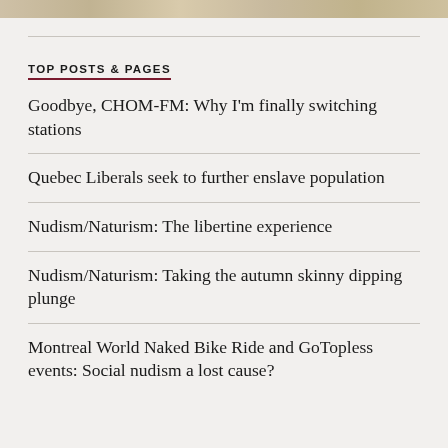[Figure (photo): Partial photo strip at the top of the page, showing a blurry outdoor scene with muted browns and greens.]
TOP POSTS & PAGES
Goodbye, CHOM-FM: Why I'm finally switching stations
Quebec Liberals seek to further enslave population
Nudism/Naturism: The libertine experience
Nudism/Naturism: Taking the autumn skinny dipping plunge
Montreal World Naked Bike Ride and GoTopless events: Social nudism a lost cause?